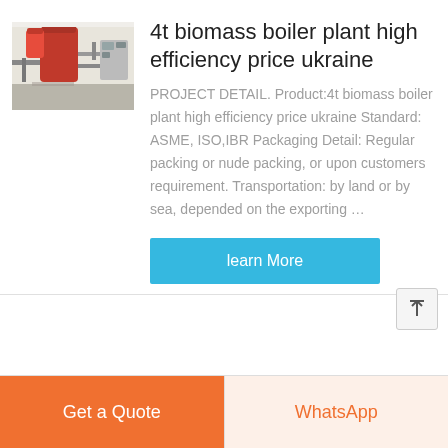[Figure (photo): Industrial biomass boiler plant equipment showing red cylindrical components and piping in a facility]
4t biomass boiler plant high efficiency price ukraine
PROJECT DETAIL. Product:4t biomass boiler plant high efficiency price ukraine Standard: ASME, ISO,IBR Packaging Detail: Regular packing or nude packing, or upon customers requirement. Transportation: by land or by sea, depended on the exporting …
learn More
Get a Quote
WhatsApp